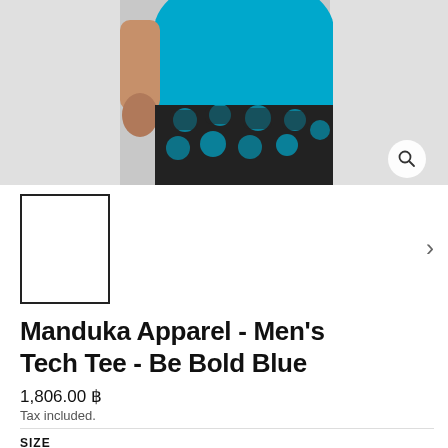[Figure (photo): Product photo showing a man wearing a bright blue tech tee and patterned shorts (black with blue circles), cropped from torso down, on a light gray background.]
[Figure (thumbnail-image): Small thumbnail box with black border, white interior, selected state indicator.]
Manduka Apparel - Men's Tech Tee - Be Bold Blue
1,806.00 ฿
Tax included.
SIZE